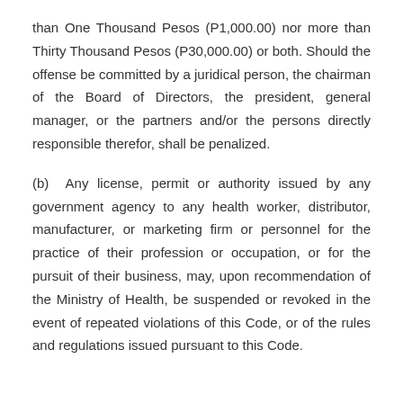than One Thousand Pesos (P1,000.00) nor more than Thirty Thousand Pesos (P30,000.00) or both. Should the offense be committed by a juridical person, the chairman of the Board of Directors, the president, general manager, or the partners and/or the persons directly responsible therefor, shall be penalized.
(b) Any license, permit or authority issued by any government agency to any health worker, distributor, manufacturer, or marketing firm or personnel for the practice of their profession or occupation, or for the pursuit of their business, may, upon recommendation of the Ministry of Health, be suspended or revoked in the event of repeated violations of this Code, or of the rules and regulations issued pursuant to this Code.